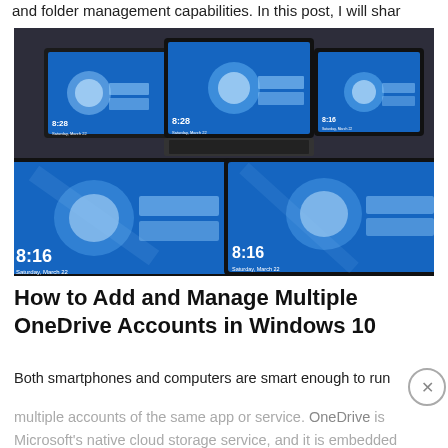and folder management capabilities. In this post, I will shar
[Figure (photo): Multiple HP laptops displaying Windows 10 lock screens with blue background showing 8:16 time, March 22 date]
How to Add and Manage Multiple OneDrive Accounts in Windows 10
Both smartphones and computers are smart enough to run
multiple accounts of the same app or service. OneDrive is Microsoft's native cloud storage service, and it is embedded